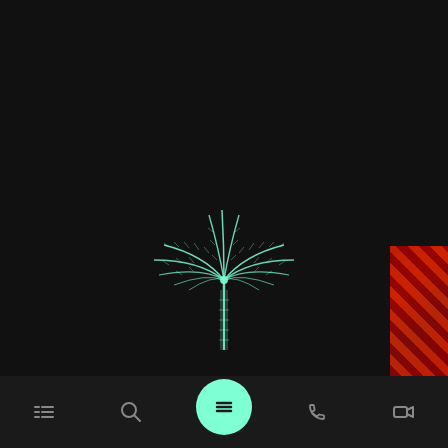[Figure (illustration): Dark mobile app screen with a glowing mint/teal palm tree logo centered in the upper-middle area of a black background, a navigation bar at the bottom with list, search, menu (highlighted circular button), phone, and video icons, and a partial thumbnail image visible in the bottom-right corner.]